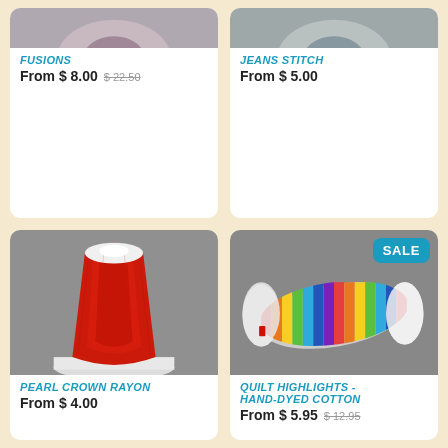[Figure (photo): Partial top view of a thread spool, gray/lavender color, cropped]
FUSIONS
From $ 8.00  $ 22.50
[Figure (photo): Partial top view of a thread spool, gray color, cropped]
JEANS STITCH
From $ 5.00
[Figure (photo): Large spool of bright red rayon thread on a white base]
PEARL CROWN RAYON
From $ 4.00
[Figure (photo): Spool of multi-colored striped cotton thread in rainbow colors with SALE badge]
QUILT HIGHLIGHTS - HAND-DYED COTTON
From $ 5.95  $ 12.95